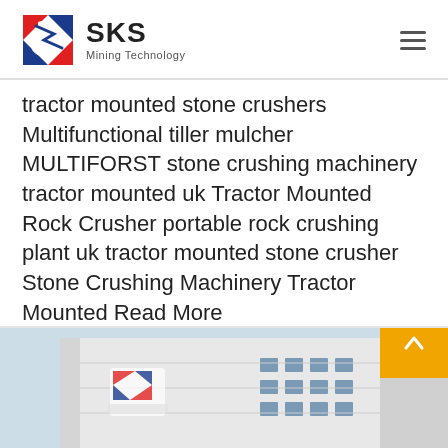SKS Mining Technology
tractor mounted stone crushers Multifunctional tiller mulcher MULTIFORST stone crushing machinery tractor mounted uk Tractor Mounted Rock Crusher portable rock crushing plant uk tractor mounted stone crusher Stone Crushing Machinery Tractor Mounted Read More
Get Price
[Figure (photo): Exterior of SKS Mining Technology building with logo visible on facade, photographed from outside showing multi-storey structure]